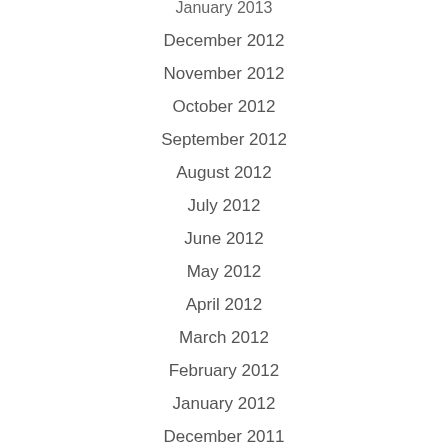January 2013
December 2012
November 2012
October 2012
September 2012
August 2012
July 2012
June 2012
May 2012
April 2012
March 2012
February 2012
January 2012
December 2011
November 2011
October 2011
September 2011